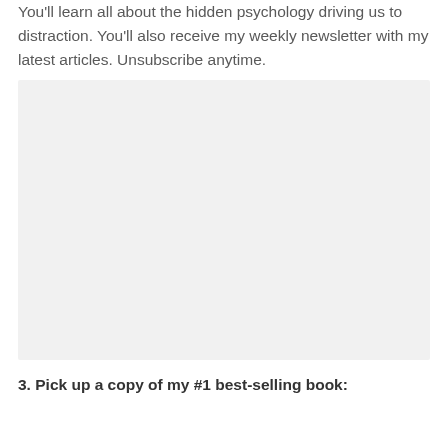You'll learn all about the hidden psychology driving us to distraction. You'll also receive my weekly newsletter with my latest articles. Unsubscribe anytime.
[Figure (other): A light gray placeholder image or embedded content block]
3. Pick up a copy of my #1 best-selling book: